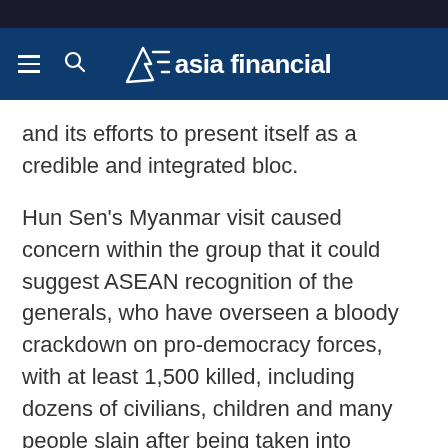asia financial
and its efforts to present itself as a credible and integrated bloc.
Hun Sen’s Myanmar visit caused concern within the group that it could suggest ASEAN recognition of the generals, who have overseen a bloody crackdown on pro-democracy forces, with at least 1,500 killed, including dozens of civilians, children and many people slain after being taken into custody.
Fissures have been exposed over the Myanmar issue and Hun Sen last week took a swipe at Malaysia’s foreign minister, calling him a mouthpiece for...